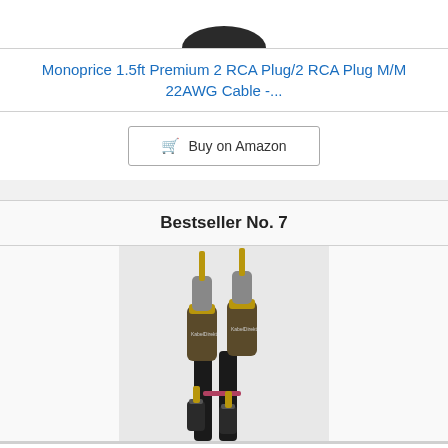[Figure (photo): Partial product image at top (cropped), showing bottom portion of a cable product]
Monoprice 1.5ft Premium 2 RCA Plug/2 RCA Plug M/M 22AWG Cable -...
Buy on Amazon
Bestseller No. 7
[Figure (photo): Photo of KabelDirekt RCA/Phono cables with gold-tipped connectors on black background]
KabelDirekt – 3ft Short – RCA/Phono Cable, 2 to 2 RCA/Phono